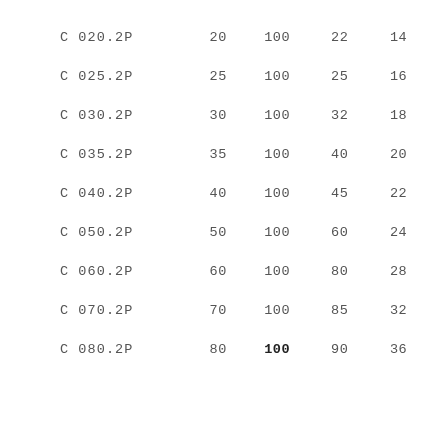| C 020.2P | 20 | 100 | 22 | 14 |
| C 025.2P | 25 | 100 | 25 | 16 |
| C 030.2P | 30 | 100 | 32 | 18 |
| C 035.2P | 35 | 100 | 40 | 20 |
| C 040.2P | 40 | 100 | 45 | 22 |
| C 050.2P | 50 | 100 | 60 | 24 |
| C 060.2P | 60 | 100 | 80 | 28 |
| C 070.2P | 70 | 100 | 85 | 32 |
| C 080.2P | 80 | 100 | 90 | 36 |